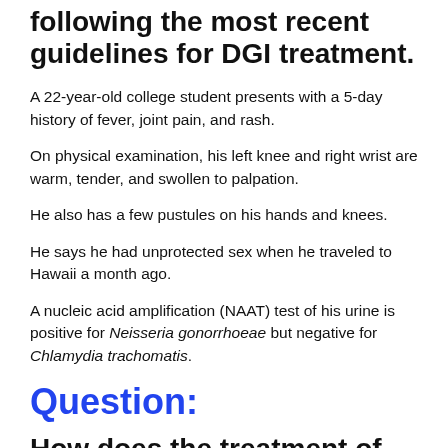following the most recent guidelines for DGI treatment.
A 22-year-old college student presents with a 5-day history of fever, joint pain, and rash.
On physical examination, his left knee and right wrist are warm, tender, and swollen to palpation.
He also has a few pustules on his hands and knees.
He says he had unprotected sex when he traveled to Hawaii a month ago.
A nucleic acid amplification (NAAT) test of his urine is positive for Neisseria gonorrhoeae but negative for Chlamydia trachomatis.
Question:
How does the treatment of this patient...